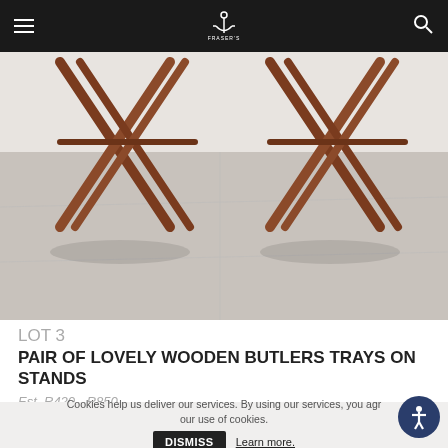Fraserss Auctioneers — navigation header with menu and search
[Figure (photo): Photograph of a pair of wooden butler's trays on folding X-frame stands, viewed from below/side angle, with white brick wall background and light grey floor]
LOT 3
PAIR OF LOVELY WOODEN BUTLERS TRAYS ON STANDS
Est. R420 - R850
8 PAGES
LIMIT
< 1 Go > 36 ▲
Cookies help us deliver our services. By using our services, you agree to our use of cookies. DISMISS Learn more.